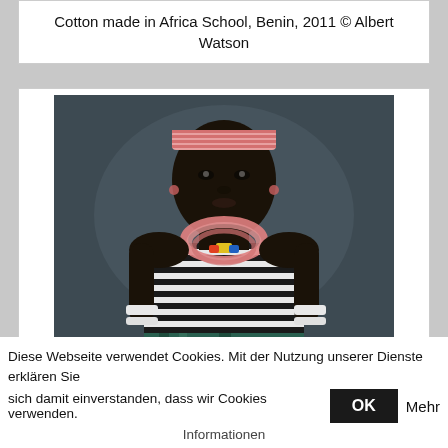Cotton made in Africa School, Benin, 2011 © Albert Watson
[Figure (photo): Portrait photograph of an African woman wearing a striped top, pink beaded necklace, white wrist wraps, and a patterned skirt. She has a pink crocheted headband. The background is dark grey/blue.]
Diese Webseite verwendet Cookies. Mit der Nutzung unserer Dienste erklären Sie sich damit einverstanden, dass wir Cookies verwenden.
Mehr Informationen